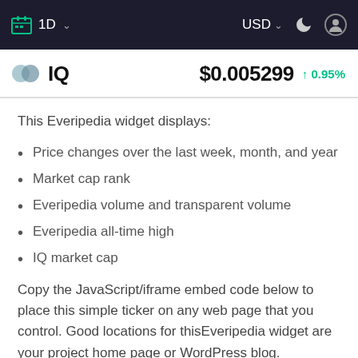1D  USD
IQ  $0.005299  ↑ 0.95%
This Everipedia widget displays:
Price changes over the last week, month, and year
Market cap rank
Everipedia volume and transparent volume
Everipedia all-time high
IQ market cap
Copy the JavaScript/iframe embed code below to place this simple ticker on any web page that you control. Good locations for thisEveripedia widget are your project home page or WordPress blog.
By default, this widget displays live charts and prices based on IQ to USD exchange rate. The widget